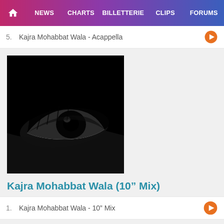HOME  NEWS  CHARTS  BILLETTERIE  CLIPS  FORUMS
5.  Kajra Mohabbat Wala - Acappella
[Figure (photo): Album art showing a close-up of an eye against a black background in black and white]
Kajra Mohabbat Wala (10" Mix)
1.  Kajra Mohabbat Wala - 10" Mix